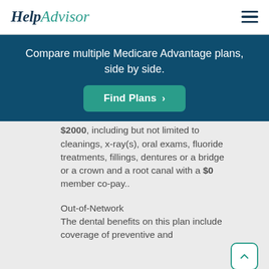HelpAdvisor
Compare multiple Medicare Advantage plans, side by side.
Find Plans >
$2000, including but not limited to cleanings, x-ray(s), oral exams, fluoride treatments, fillings, dentures or a bridge or a crown and a root canal with a $0 member co-pay..
Out-of-Network
The dental benefits on this plan include coverage of preventive and